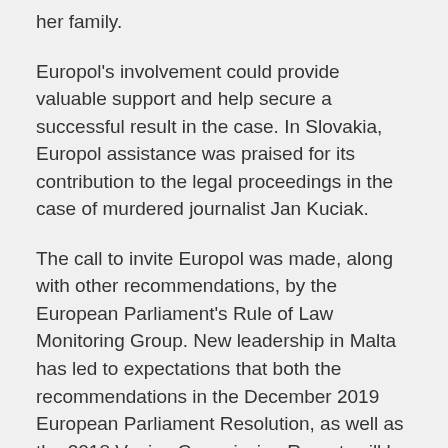her family.
Europol's involvement could provide valuable support and help secure a successful result in the case. In Slovakia, Europol assistance was praised for its contribution to the legal proceedings in the case of murdered journalist Jan Kuciak.
The call to invite Europol was made, along with other recommendations, by the European Parliament's Rule of Law Monitoring Group. New leadership in Malta has led to expectations that both the recommendations in the December 2019 European Parliament Resolution, as well as the 2018 Venice Commission Report, will be